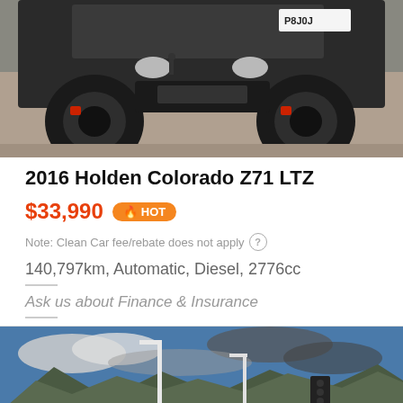[Figure (photo): Front/underside view of a dark colored 2016 Holden Colorado Z71 LTZ truck, showing large black off-road tires, red brake calipers, and a license plate partially visible reading P8J0J. Photographed on a road surface.]
2016 Holden Colorado Z71 LTZ
$33,990  🔥 HOT
Note: Clean Car fee/rebate does not apply ?
140,797km, Automatic, Diesel, 2776cc
Ask us about Finance & Insurance
[Figure (photo): Road scene with street lights and traffic light poles, mountains in the background with blue sky and clouds. A dark vehicle is partially visible in the lower portion of the frame.]